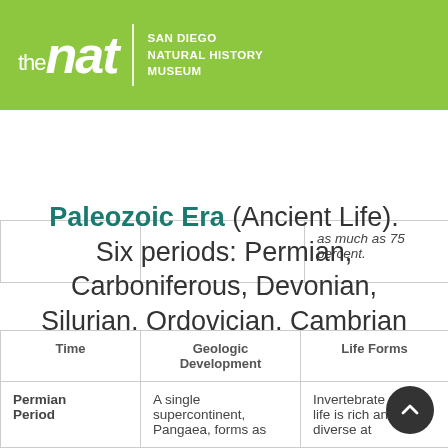the nat | SAN DIEGO NATURAL HISTORY MUSEUM
|  |  |  |
| --- | --- | --- |
|  |  | as much as 75 percent. |
Paleozoic Era (Ancient Life). Six periods: Permian, Carboniferous, Devonian, Silurian, Ordovician, Cambrian
| Time | Geologic Development | Life Forms |
| --- | --- | --- |
| Permian Period | A single supercontinent, Pangaea, forms as | Invertebrate marine life is rich and diverse at |